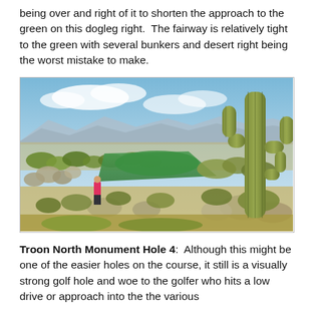being over and right of it to shorten the approach to the green on this dogleg right.  The fairway is relatively tight to the green with several bunkers and desert right being the worst mistake to make.
[Figure (photo): Aerial view of a desert golf course fairway surrounded by saguaro cacti, scrubby desert vegetation, boulders, and mountains in the background. A golfer in a pink shirt stands on the left side. The green is visible in the middle distance.]
Troon North Monument Hole 4:  Although this might be one of the easier holes on the course, it still is a visually strong golf hole and woe to the golfer who hits a low drive or approach into the the various